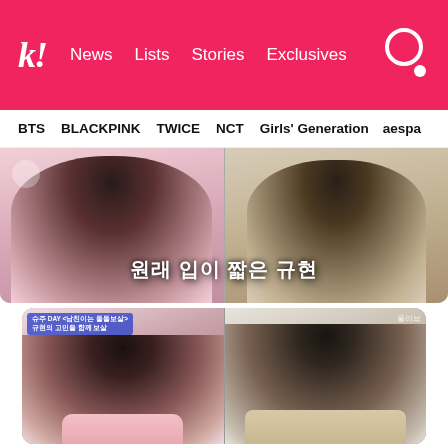k! News Lists Stories Exclusives
BTS  BLACKPINK  TWICE  NCT  Girls' Generation  aespa
[Figure (screenshot): Screenshot from a Korean TV show split into two panels. Left panel shows a person in pink attire. Right panel shows a person in beige/tan outfit. Korean text overlay reads: 원래 입이 짧은 규현]
According to Kyuhyun, he eats so little that some even ask him if he's had a gastrectomy.
[Figure (screenshot): Screenshot from Korean TV show 슈주 DAY split into two panels. Left panel shows a man in pink with mouth open in surprise expression. Right panel shows a younger man in beige suit looking surprised.]